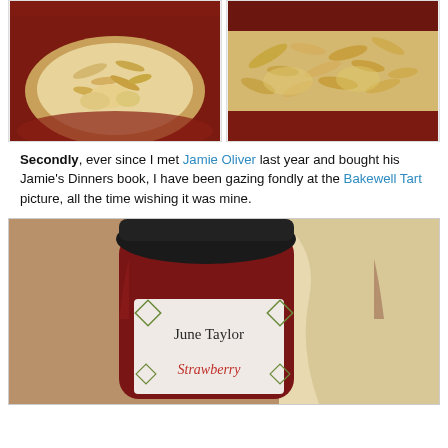[Figure (photo): Two food photos side by side showing red baking dish with almond-topped filling]
Secondly, ever since I met Jamie Oliver last year and bought his Jamie's Dinners book, I have been gazing fondly at the Bakewell Tart picture, all the time wishing it was mine.
[Figure (photo): June Taylor strawberry jam jar with pastry cloth in background]